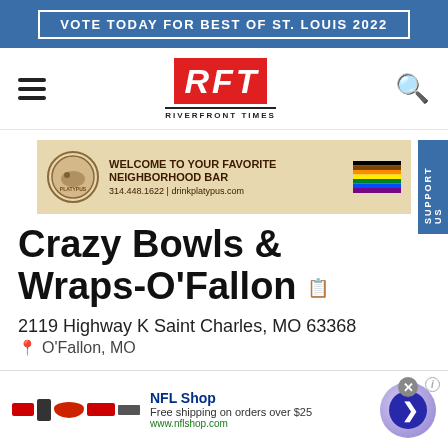VOTE TODAY FOR BEST OF ST. LOUIS 2022
[Figure (logo): RFT Riverfront Times logo - red box with white italic letters R, F, T above 'RIVERFRONT TIMES' text]
[Figure (infographic): Platypus bar advertisement: Welcome to your favorite neighborhood bar. 314.448.1622 | drinkplatypus.com with pride flag]
Crazy Bowls & Wraps-O'Fallon
2119 Highway K Saint Charles, MO 63368
O'Fallon, MO
[Figure (infographic): NFL Shop advertisement. Free shipping on orders over $25. www.nflshop.com]